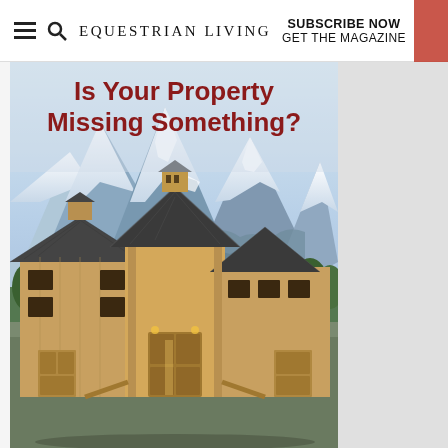EQUESTRIAN LIVING | SUBSCRIBE NOW GET THE MAGAZINE
[Figure (photo): Advertisement for Equestrian Living magazine showing a large wooden barn with dark metal roof in front of snow-capped mountains with text 'Is Your Property Missing Something?']
Is Your Property Missing Something?